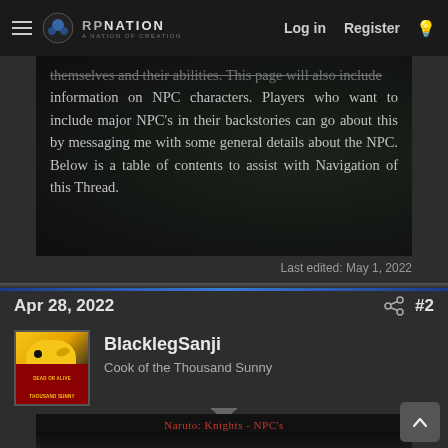RPNation — Log in | Register
themselves and their abilities. This page will also include information on NPC characters. Players who want to include major NPC's in their backstories can go about this by messaging me with some general details about the NPC. Below is a table of contents to assist with Navigation of this Thread.
Last edited: May 1, 2022
Apr 28, 2022  #2
BlacklegSanji
Cook of the Thousand Sunny
[Figure (screenshot): Bottom preview of a dark image panel with red text reading 'Naruto: Knights - NPC's']